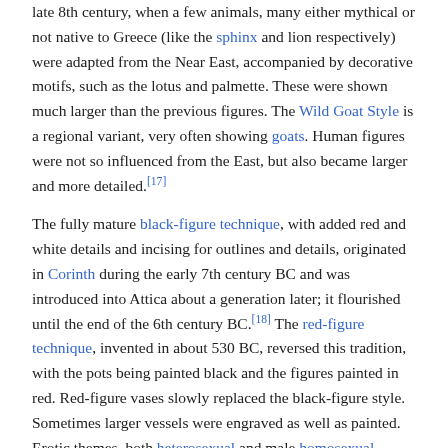late 8th century, when a few animals, many either mythical or not native to Greece (like the sphinx and lion respectively) were adapted from the Near East, accompanied by decorative motifs, such as the lotus and palmette. These were shown much larger than the previous figures. The Wild Goat Style is a regional variant, very often showing goats. Human figures were not so influenced from the East, but also became larger and more detailed.[17]
The fully mature black-figure technique, with added red and white details and incising for outlines and details, originated in Corinth during the early 7th century BC and was introduced into Attica about a generation later; it flourished until the end of the 6th century BC.[18] The red-figure technique, invented in about 530 BC, reversed this tradition, with the pots being painted black and the figures painted in red. Red-figure vases slowly replaced the black-figure style. Sometimes larger vessels were engraved as well as painted. Erotic themes, both heterosexual and male homosexual, became common.[19] By about 320 BC fine figurative vase-painting had ceased in Athens and other Greek centres, with the polychromatic Kerch style a final flourish; it was probably replaced by metalwork for most of its functions. West Slope Ware, with